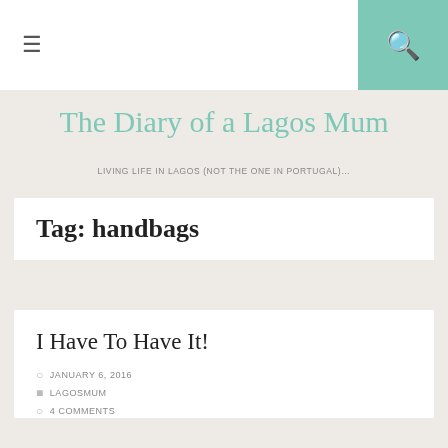≡  🔍
The Diary of a Lagos Mum
LIVING LIFE IN LAGOS (NOT THE ONE IN PORTUGAL)…
Tag: handbags
I Have To Have It!
JANUARY 6, 2016
LAGOSMUM
4 COMMENTS